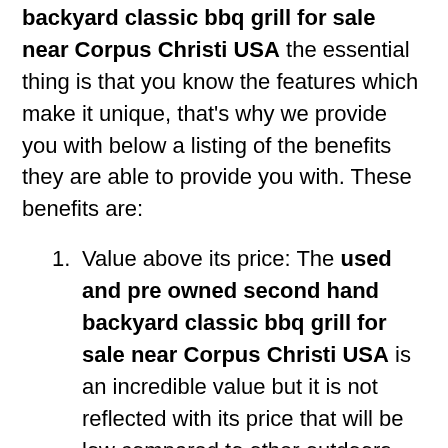backyard classic bbq grill for sale near Corpus Christi USA the essential thing is that you know the features which make it unique, that's why we provide you with below a listing of the benefits they are able to provide you with. These benefits are:
Value above its price: The used and pre owned second hand backyard classic bbq grill for sale near Corpus Christi USA is an incredible value but it is not reflected with its price that will be low compared to other outdoors bbq grills on the market. It is also in some cases the